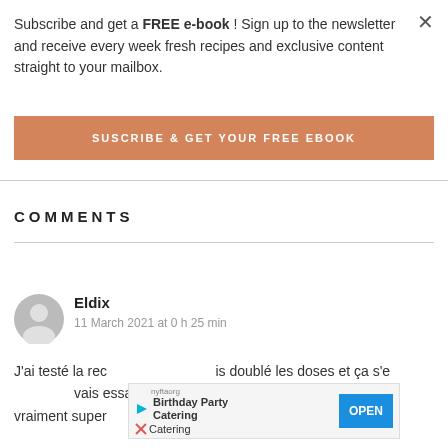Subscribe and get a FREE e-book ! Sign up to the newsletter and receive every week fresh recipes and exclusive content straight to your mailbox.
SUSCRIBE & GET YOUR FREE EBOOK
COMMENTS
Eldix
11 March 2021 at 0 h 25 min
J'ai testé la rec... is doublé les doses et ça s'e... vais essayé de suivre la recette à la lettre et c'était vraiment super
[Figure (other): Advertisement overlay: nyftaorg Birthday Party Catering with OPEN button]